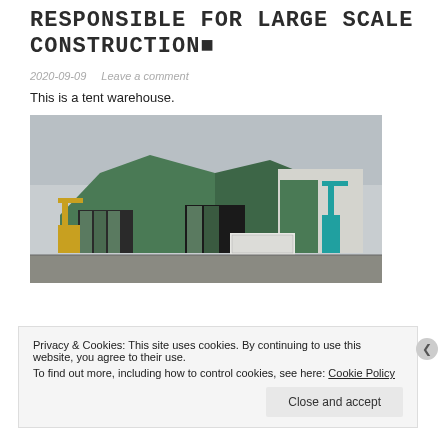RESPONSIBLE FOR LARGE SCALE CONSTRUCTION🔲
2020-09-09   Leave a comment
This is a tent warehouse.
[Figure (photo): A large green tent warehouse structure with open bay doors, construction cranes visible on left and right sides, parked in an industrial yard under an overcast sky.]
Privacy & Cookies: This site uses cookies. By continuing to use this website, you agree to their use.
To find out more, including how to control cookies, see here: Cookie Policy
Close and accept